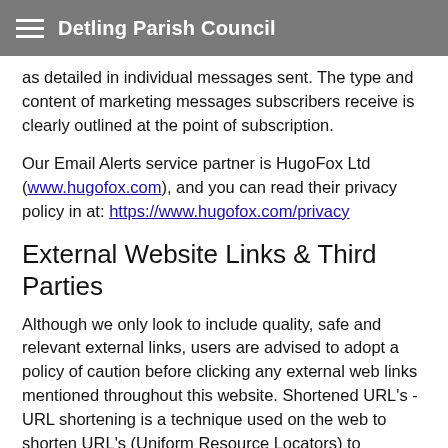Detling Parish Council
as detailed in individual messages sent. The type and content of marketing messages subscribers receive is clearly outlined at the point of subscription.
Our Email Alerts service partner is HugoFox Ltd (www.hugofox.com), and you can read their privacy policy in at: https://www.hugofox.com/privacy
External Website Links & Third Parties
Although we only look to include quality, safe and relevant external links, users are advised to adopt a policy of caution before clicking any external web links mentioned throughout this website. Shortened URL's - URL shortening is a technique used on the web to shorten URL's (Uniform Resource Locators) to something substantially shorter. This technique is especially used in social media and looks like this (example: http://bit.ly/x)(URo). Users should take caution